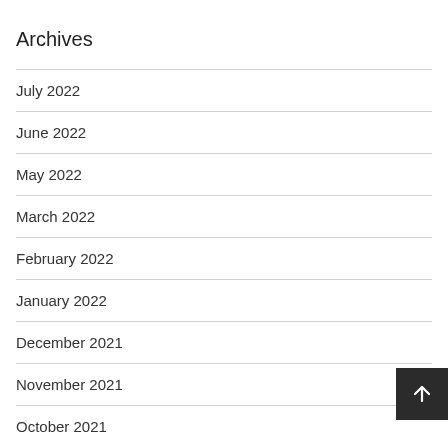Archives
July 2022
June 2022
May 2022
March 2022
February 2022
January 2022
December 2021
November 2021
October 2021